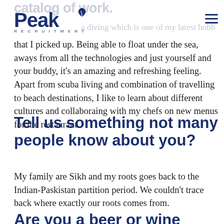Peak
a diving which is one of my latest hobbies that I picked up. Being able to float under the sea, aways from all the technologies and just yourself and your buddy, it's an amazing and refreshing feeling. Apart from scuba living and combination of travelling to beach destinations, I like to learn about different cultures and collaboraing with my chefs on new menus for the restaurant.
Tell us something not many people know about you?
My family are Sikh and my roots goes back to the Indian-Paskistan partition period. We couldn't trace back where exactly our roots comes from.
Are you a beer or wine person?